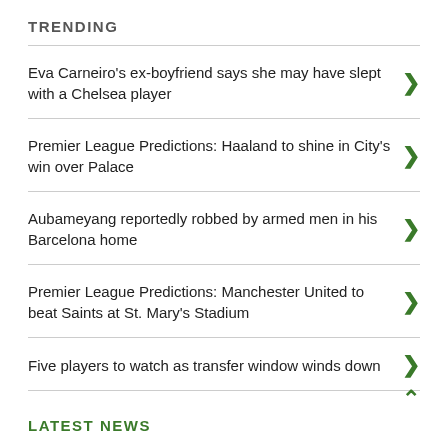TRENDING
Eva Carneiro’s ex-boyfriend says she may have slept with a Chelsea player
Premier League Predictions: Haaland to shine in City's win over Palace
Aubameyang reportedly robbed by armed men in his Barcelona home
Premier League Predictions: Manchester United to beat Saints at St. Mary's Stadium
Five players to watch as transfer window winds down
LATEST NEWS